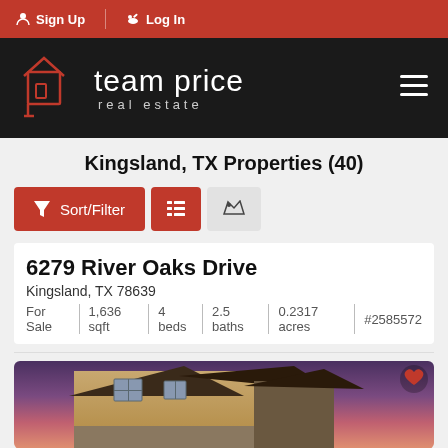Sign Up | Log In
[Figure (logo): Team Price Real Estate logo with house icon on black background, hamburger menu icon on right]
Kingsland, TX Properties (40)
Sort/Filter | List view | Map view buttons
6279 River Oaks Drive
Kingsland, TX 78639
For Sale | 1,636 sqft | 4 beds | 2.5 baths | 0.2317 acres | #2585572
[Figure (photo): Two-story house exterior with tan stucco and stone accents against a purple/pink sunset sky]